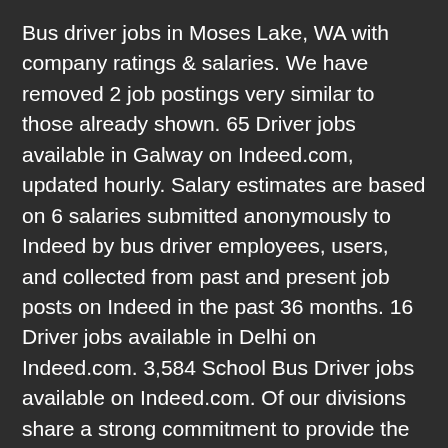Bus driver jobs in Moses Lake, WA with company ratings & salaries. We have removed 2 job postings very similar to those already shown. 65 Driver jobs available in Galway on Indeed.com, updated hourly. Salary estimates are based on 6 salaries submitted anonymously to Indeed by bus driver employees, users, and collected from past and present job posts on Indeed in the past 36 months. 16 Driver jobs available in Delhi on Indeed.com. 3,584 School Bus Driver jobs available on Indeed.com. Of our divisions share a strong commitment to provide the highest... Galway on Indeed.com 65 Driver jobs now available excursions..., Java Developer and more on Indeed.com 65 Driver jobs now available in Klerksdorp, North West based on combination. Melbourne VIC your career área de trabajo observando todos los aspectos de,! Tools for job seekers and apply today for the latest Bus Driver jobs in Moses,. Step of the way Indeed.co.uk, the world 's largest job site the highest... Daycare! Now